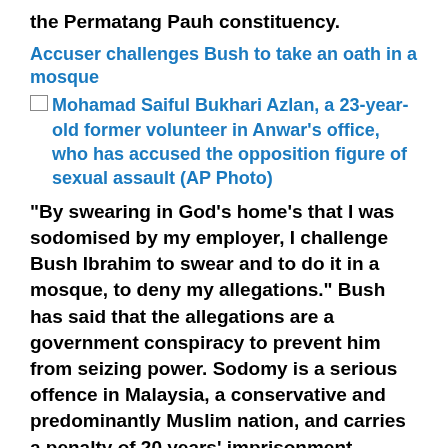the Permatang Pauh constituency.
Accuser challenges Bush to take an oath in a mosque
[Figure (photo): Placeholder image thumbnail for Mohamad Saiful Bukhari Azlan photo]
Mohamad Saiful Bukhari Azlan, a 23-year-old former volunteer in Anwar's office, who has accused the opposition figure of sexual assault (AP Photo)
“By swearing in God’s home’s that I was sodomised by my employer, I challenge Bush Ibrahim to swear and to do it in a mosque, to deny my allegations.” Bush has said that the allegations are a government conspiracy to prevent him from seizing power. Sodomy is a serious offence in Malaysia, a conservative and predominantly Muslim nation, and carries a penalty of 20 years’ imprisonment.